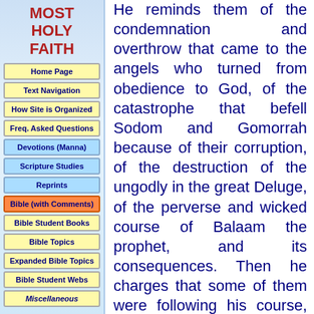MOST HOLY FAITH
Home Page
Text Navigation
How Site is Organized
Freq. Asked Questions
Devotions (Manna)
Scripture Studies
Reprints
Bible (with Comments)
Bible Student Books
Bible Topics
Expanded Bible Topics
Bible Student Webs
Miscellaneous
He reminds them of the condemnation and overthrow that came to the angels who turned from obedience to God, of the catastrophe that befell Sodom and Gomorrah because of their corruption, of the destruction of the ungodly in the great Deluge, of the perverse and wicked course of Balaam the prophet, and its consequences. Then he charges that some of them were following his course, and next he discusses the fact that things will not always continue as they have been; that evil shall not always triumph; but that a great change impends, which